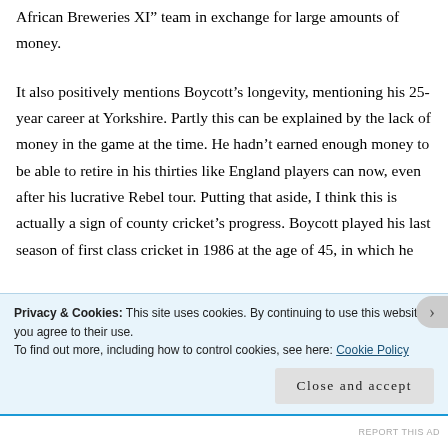African Breweries XI” team in exchange for large amounts of money.
It also positively mentions Boycott’s longevity, mentioning his 25-year career at Yorkshire. Partly this can be explained by the lack of money in the game at the time. He hadn’t earned enough money to be able to retire in his thirties like England players can now, even after his lucrative Rebel tour. Putting that aside, I think this is actually a sign of county cricket’s progress. Boycott played his last season of first class cricket in 1986 at the age of 45, in which he
Privacy & Cookies: This site uses cookies. By continuing to use this website, you agree to their use.
To find out more, including how to control cookies, see here: Cookie Policy
Close and accept